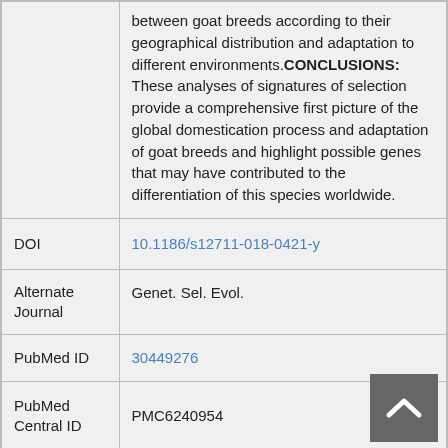| Field | Value |
| --- | --- |
|  | between goat breeds according to their geographical distribution and adaptation to different environments.CONCLUSIONS: These analyses of signatures of selection provide a comprehensive first picture of the global domestication process and adaptation of goat breeds and highlight possible genes that may have contributed to the differentiation of this species worldwide. |
| DOI | 10.1186/s12711-018-0421-y |
| Alternate Journal | Genet. Sel. Evol. |
| PubMed ID | 30449276 |
| PubMed Central ID | PMC6240954 |